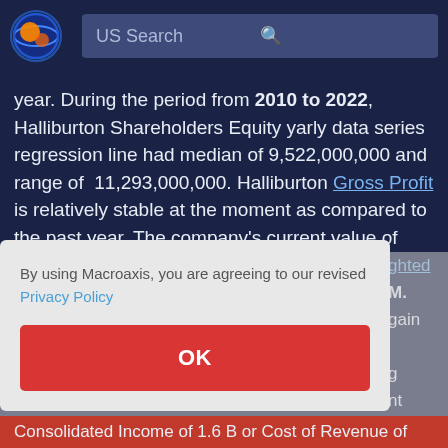US Search
year. During the period from 2010 to 2022, Halliburton Shareholders Equity yarly data series regression line had median of 9,522,000,000 and range of 11,293,000,000. Halliburton Gross Profit is relatively stable at the moment as compared to the past year. The company's current value of Gross Profit is estimated at
By using Macroaxis, you are agreeing to our revised Privacy Policy
OK
Consolidated Income of 1.6 B or Cost of Revenue of